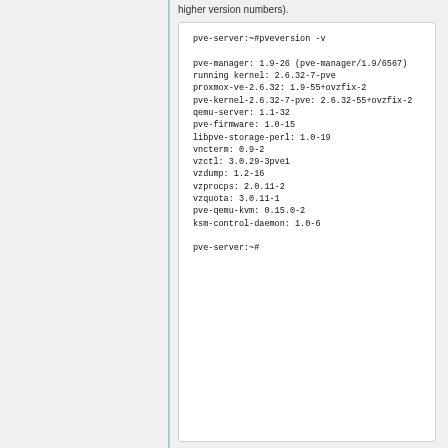higher version numbers).
pve-server:~#pveversion -v

pve-manager: 1.9-26 (pve-manager/1.9/6567)
running kernel: 2.6.32-7-pve
proxmox-ve-2.6.32: 1.9-55+ovzfix-2
pve-kernel-2.6.32-7-pve: 2.6.32-55+ovzfix-2
qemu-server: 1.1-32
pve-firmware: 1.0-15
libpve-storage-perl: 1.0-19
vncterm: 0.9-2
vzctl: 3.0.29-3pve1
vzdump: 1.2-16
vzprocps: 2.0.11-2
vzquota: 3.0.11-1
pve-qemu-kvm: 0.15.0-2
ksm-control-daemon: 1.0-6

pve-server:~#